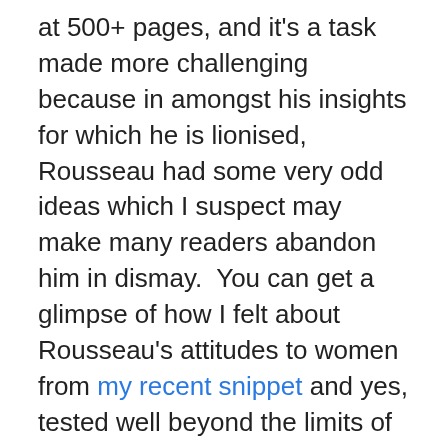at 500+ pages, and it's a task made more challenging because in amongst his insights for which he is lionised, Rousseau had some very odd ideas which I suspect may make many readers abandon him in dismay.  You can get a glimpse of how I felt about Rousseau's attitudes to women from my recent snippet and yes, tested well beyond the limits of my patience, I nearly abandoned this book when I came to Book 5 and found reading at the top of his list of Five Perilous Paths to be avoided by adolescents.  (The other four are solitude, idleness, a soft and sedentary life and intercourse with women and young people) (p.335).
In Book 1 he rants about the evils of swaddling clothes; mothers who won't do their duty by nursing their own children; and eating meat.  (Nursing mothers should not eat meat, he says, because decaying animal matter